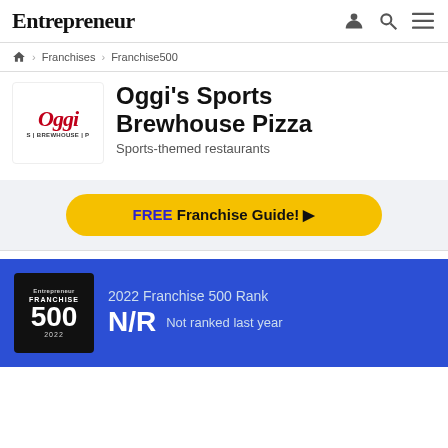Entrepreneur
Franchises
Franchise500
Oggi's Sports Brewhouse Pizza
Sports-themed restaurants
FREE Franchise Guide!
2022 Franchise 500 Rank
N/R  Not ranked last year